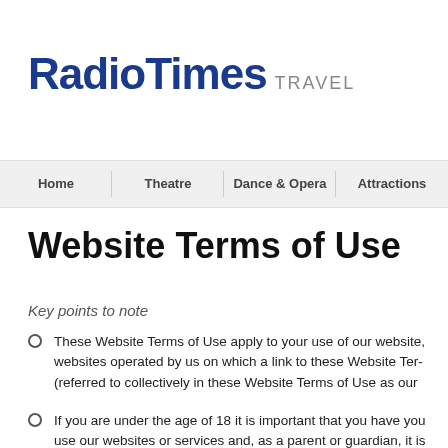[Figure (logo): RadioTimes TRAVEL logo — RadioTimes in bold dark blue large text, TRAVEL in grey smaller uppercase letters]
Home | Theatre | Dance & Opera | Attractions
Website Terms of Use
Key points to note
These Website Terms of Use apply to your use of our website, websites operated by us on which a link to these Website Terms (referred to collectively in these Website Terms of Use as our
If you are under the age of 18 it is important that you have you, use our websites or services and, as a parent or guardian, it is these Website Terms of Use.